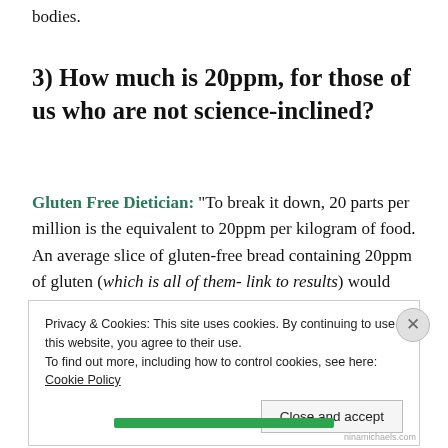bodies.
3) How much is 20ppm, for those of us who are not science-inclined?
Gluten Free Dietician: “To break it down, 20 parts per million is the equivalent to 20ppm per kilogram of food. An average slice of gluten-free bread containing 20ppm of gluten (which is all of them- link to results) would
Privacy & Cookies: This site uses cookies. By continuing to use this website, you agree to their use.
To find out more, including how to control cookies, see here: Cookie Policy
Close and accept